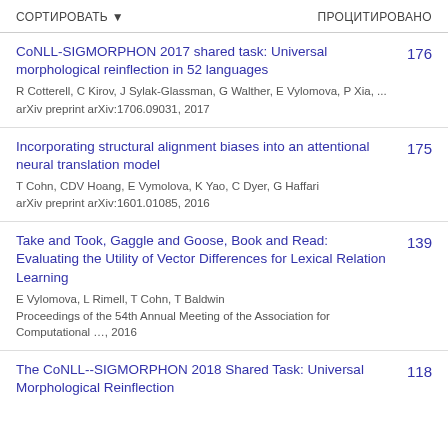СОРТИРОВАТЬ ▼    ПРОЦИТИРОВАНО
CoNLL-SIGMORPHON 2017 shared task: Universal morphological reinflection in 52 languages
R Cotterell, C Kirov, J Sylak-Glassman, G Walther, E Vylomova, P Xia, ...
arXiv preprint arXiv:1706.09031, 2017
176
Incorporating structural alignment biases into an attentional neural translation model
T Cohn, CDV Hoang, E Vymolova, K Yao, C Dyer, G Haffari
arXiv preprint arXiv:1601.01085, 2016
175
Take and Took, Gaggle and Goose, Book and Read: Evaluating the Utility of Vector Differences for Lexical Relation Learning
E Vylomova, L Rimell, T Cohn, T Baldwin
Proceedings of the 54th Annual Meeting of the Association for Computational …, 2016
139
The CoNLL--SIGMORPHON 2018 Shared Task: Universal Morphological Reinflection
118